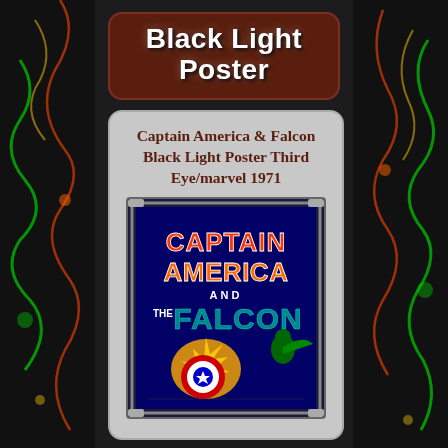Black Light Poster
Captain America & Falcon Black Light Poster Third Eye/marvel 1971
[Figure (photo): Captain America and The Falcon black light poster from Third Eye/Marvel 1971, showing colorful comic art with 'CAPTAIN AMERICA AND THE FALCON' text on a dark background, displayed in a frame with corner clips.]